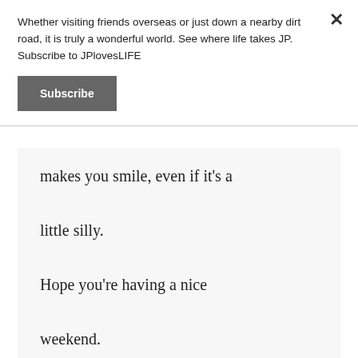Whether visiting friends overseas or just down a nearby dirt road, it is truly a wonderful world. See where life takes JP. Subscribe to JPlovesLIFE
Subscribe
makes you smile, even if it’s a little silly.

Hope you’re having a nice weekend.
[Figure (photo): Portrait photo of Janice Person, a woman with short dark reddish-brown hair, smiling, against a dark background]
JANICE PERSON
says